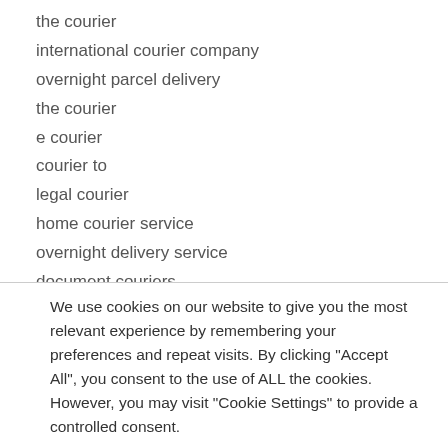the courier
international courier company
overnight parcel delivery
the courier
e courier
courier to
legal courier
home courier service
overnight delivery service
document couriers
and courier
We use cookies on our website to give you the most relevant experience by remembering your preferences and repeat visits. By clicking "Accept All", you consent to the use of ALL the cookies. However, you may visit "Cookie Settings" to provide a controlled consent.